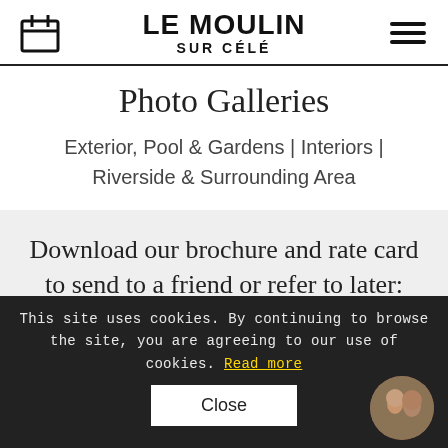LE MOULIN SUR CÉLÉ
Photo Galleries
Exterior, Pool & Gardens | Interiors | Riverside & Surrounding Area
Download our brochure and rate card to send to a friend or refer to later:
This site uses cookies. By continuing to browse the site, you are agreeing to our use of cookies. Read more
Close